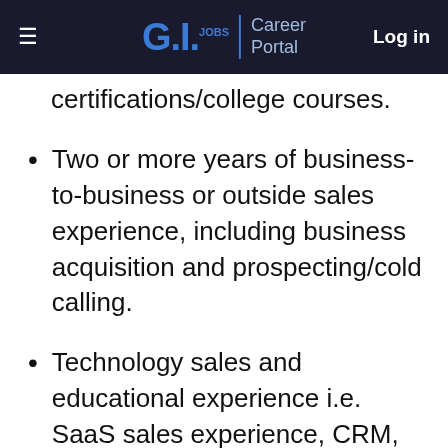G.I.Jobs | Career Portal   Log in
certifications/college courses.
Two or more years of business-to-business or outside sales experience, including business acquisition and prospecting/cold calling.
Technology sales and educational experience i.e. SaaS sales experience, CRM, SalesForce or other client management tools, social media, etc.
(partial text cut off at bottom)